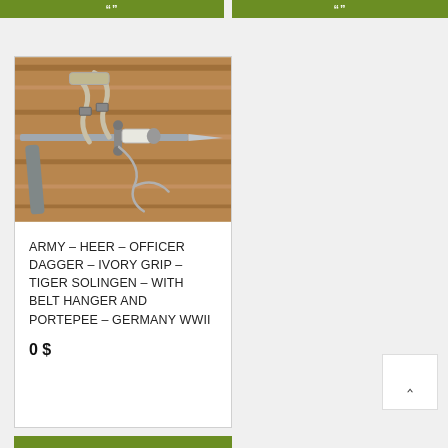""
[Figure (photo): A WWII German Army Heer officer dagger with ivory grip, scabbard, belt hanger and portepee, laid on a wooden surface.]
ARMY – HEER – OFFICER DAGGER – IVORY GRIP – TIGER SOLINGEN – WITH BELT HANGER AND PORTEPEE – GERMANY WWII
0 $